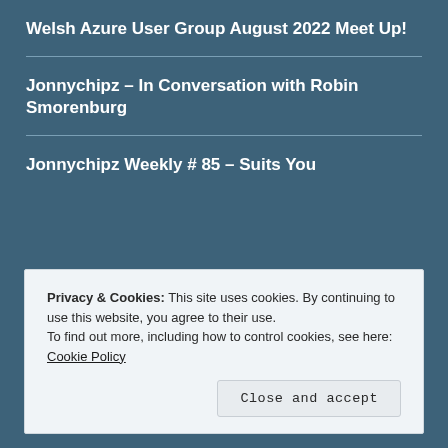Welsh Azure User Group August 2022 Meet Up!
Jonnychipz – In Conversation with Robin Smorenburg
Jonnychipz Weekly # 85 – Suits You
CATEGORIES
Privacy & Cookies: This site uses cookies. By continuing to use this website, you agree to their use. To find out more, including how to control cookies, see here: Cookie Policy